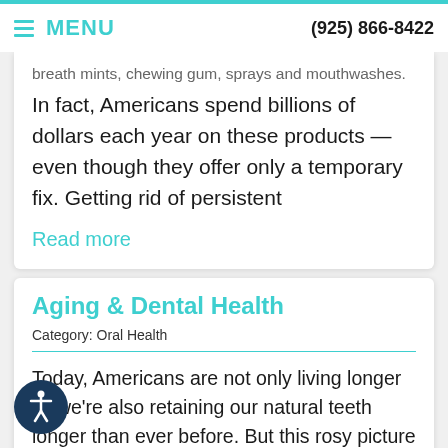MENU | (925) 866-8422
breath mints, chewing gum, sprays and mouthwashes. In fact, Americans spend billions of dollars each year on these products — even though they offer only a temporary fix. Getting rid of persistent
Read more
Aging & Dental Health
Category: Oral Health
Today, Americans are not only living longer — we're also retaining our natural teeth longer than ever before. But this rosy picture isn't free of thorns: Older adults tend to require increasingly complex dental treatments; are often more prone to contracting certain diseases; and sometimes find it